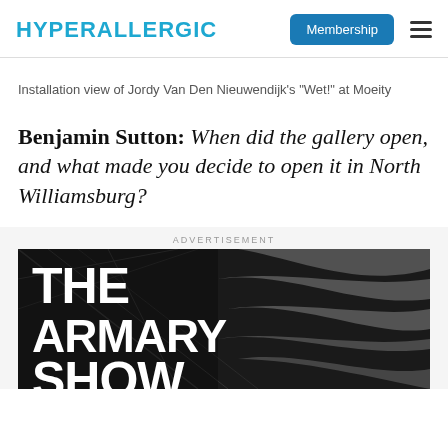HYPERALLERGIC | Membership
Installation view of Jordy Van Den Nieuwendijk's “Wet!” at Moeity
Benjamin Sutton: When did the gallery open, and what made you decide to open it in North Williamsburg?
[Figure (other): Advertisement banner for The Armory Show, dark background with geometric structural elements and large white bold text reading THE ARMORY SHOW]